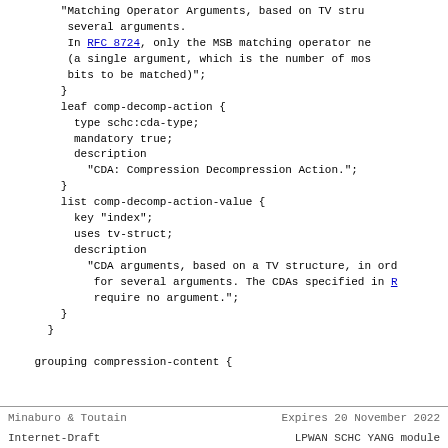"Matching Operator Arguments, based on TV stru... several arguments.
 In RFC 8724, only the MSB matching operator ne...
 (a single argument, which is the number of mos...
 bits to be matched)";
 }
 leaf comp-decomp-action {
   type schc:cda-type;
   mandatory true;
   description
     "CDA: Compression Decompression Action.";
 }
 list comp-decomp-action-value {
   key "index";
   uses tv-struct;
   description
     "CDA arguments, based on a TV structure, in ord...
      for several arguments. The CDAs specified in R...
      require no argument.";
 }
 }

 grouping compression-content {
Minaburo & Toutain       Expires 20 November 2022
Internet-Draft           LPWAN SCHC YANG module